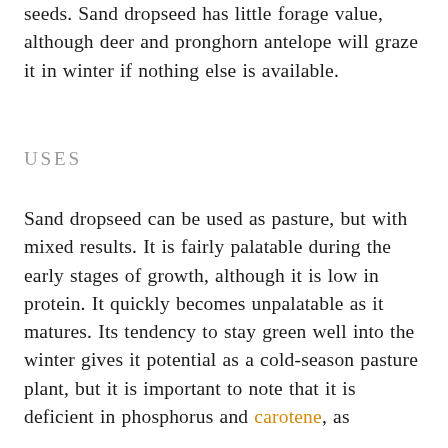seeds. Sand dropseed has little forage value, although deer and pronghorn antelope will graze it in winter if nothing else is available.
USES
Sand dropseed can be used as pasture, but with mixed results. It is fairly palatable during the early stages of growth, although it is low in protein. It quickly becomes unpalatable as it matures. Its tendency to stay green well into the winter gives it potential as a cold-season pasture plant, but it is important to note that it is deficient in phosphorus and carotene, as